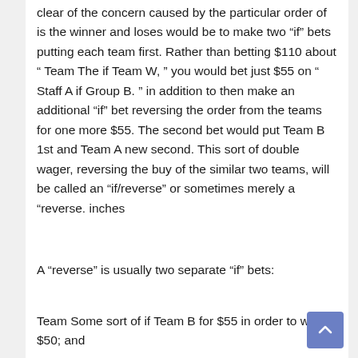clear of the concern caused by the particular order of is the winner and loses would be to make two “if” bets putting each team first. Rather than betting $110 about “ Team The if Team W, ” you would bet just $55 on “ Staff A if Group B. ” in addition to then make an additional “if” bet reversing the order from the teams for one more $55. The second bet would put Team B 1st and Team A new second. This sort of double wager, reversing the buy of the similar two teams, will be called an “if/reverse” or sometimes merely a “reverse. inches
A “reverse” is usually two separate “if” bets:
Team Some sort of if Team B for $55 in order to win $50; and